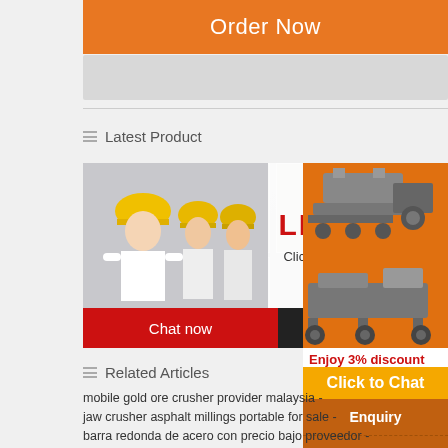[Figure (screenshot): Orange 'Order Now' button at top of page]
≡  Latest Product
[Figure (photo): Live chat overlay showing workers in yellow hard hats with LIVE CHAT popup, Chat now and Chat later buttons]
[Figure (photo): Right sidebar showing orange panel with mining/crushing machinery images, 'Enjoy 3% discount', 'Click to Chat', 'Enquiry', and 'limingjlmofen@sina.com' contact info]
≡  Related Articles
mobile gold ore crusher provider malaysia -
jaw crusher asphalt millings portable for sale -
barra redonda de acero con precio bajo proveedor -